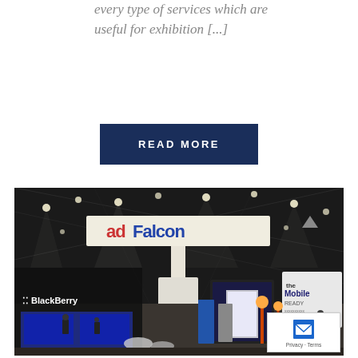every type of services which are useful for exhibition [...]
READ MORE
[Figure (photo): An exhibition hall showing the AdFalcon branded overhead signage/booth, with BlackBerry branding visible on the left, various exhibition stands, attendees, and display banners in a large indoor venue with dark ceiling and spotlights.]